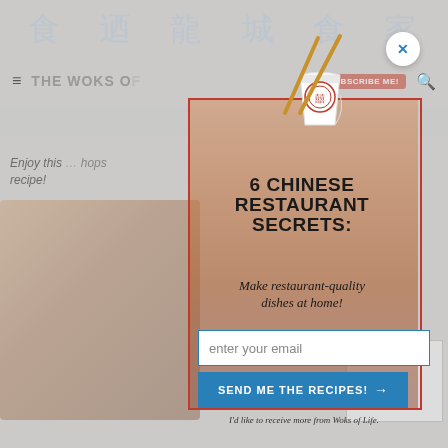[Figure (screenshot): Website screenshot of The Woks of Life cooking blog, partially obscured by a popup modal. The background shows Chinese characters, a navigation header with hamburger menu, site title, subscribe button, and search icon. Background food photography is visible. A close button (X) appears top right of the popup.]
6 CHINESE RESTAURANT SECRETS:
Make restaurant-quality dishes at home!
enter your email
SEND ME THE RECIPES! →
I'd like to receive more from Woks of Life.